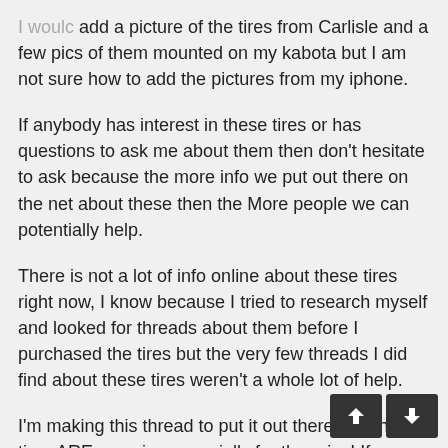I would add a picture of the tires from Carlisle and a few pics of them mounted on my kabota but I am not sure how to add the pictures from my iphone.
If anybody has interest in these tires or has questions to ask me about them then don't hesitate to ask because the more info we put out there on the net about these then the More people we can potentially help.
There is not a lot of info online about these tires right now, I know because I tried to research myself and looked for threads about them before I purchased the tires but the very few threads I did find about these tires weren't a whole lot of help.
I'm making this thread to put it out there that these tires ARE amazing especially for the price! If your looking for a tire that is more aggressive than a turf tire because you need the traction but also a tire that is a ton easier on your lawn then the Carlisle wt300 is the tire for you.